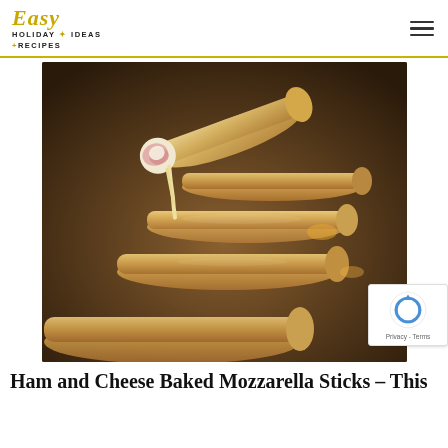Easy Holiday Ideas + Recipes
[Figure (photo): Baked egg roll wrappers filled with ham and mozzarella cheese, arranged on a dark baking sheet. One is open showing melted cheese and ham inside.]
Ham and Cheese Baked Mozzarella Sticks – This